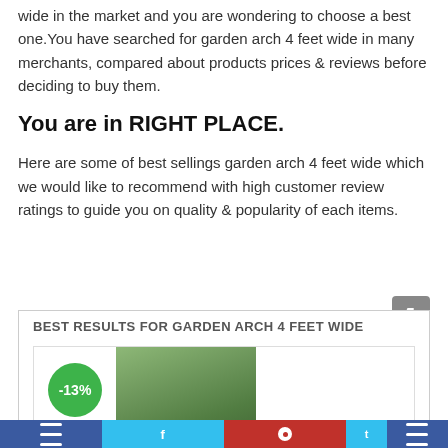wide in the market and you are wondering to choose a best one.You have searched for garden arch 4 feet wide in many merchants, compared about products prices & reviews before deciding to buy them.
You are in RIGHT PLACE.
Here are some of best sellings garden arch 4 feet wide which we would like to recommend with high customer review ratings to guide you on quality & popularity of each items.
BEST RESULTS FOR GARDEN ARCH 4 FEET WIDE
[Figure (photo): Product card showing a garden arch photo with a -13% discount badge in green circle]